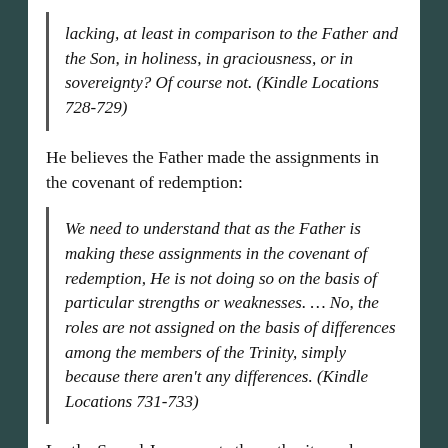lacking, at least in comparison to the Father and the Son, in holiness, in graciousness, or in sovereignty? Of course not. (Kindle Locations 728-729)
He believes the Father made the assignments in the covenant of redemption:
We need to understand that as the Father is making these assignments in the covenant of redemption, He is not doing so on the basis of particular strengths or weaknesses. … No, the roles are not assigned on the basis of differences among the members of the Trinity, simply because there aren't any differences. (Kindle Locations 731-733)
Lastly, Sproul Jr, connects the authority and subordination in the Trinity with the husband/wife relationship: